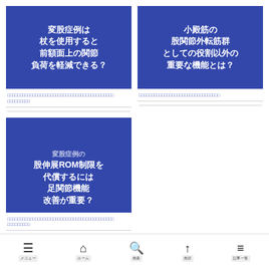[Figure (illustration): Blue card with Japanese text: 変股症例は杖を使用すると前額面上の関節負荷を軽減できる？]
□□□□□□□□□□□□□□□□□□□□□□□□□□□□□□□□□□□□□□□□□□□□□□□□□□□
[Figure (illustration): Blue card with Japanese text: 小殿筋の股関節外転筋群としての役割以外の重要な機能とは？]
□□□□□□□□□□□□□□□□□□□□□□□□□□□□□□□□
[Figure (illustration): Blue card with Japanese text partially visible: 変股症例の股伸展ROM制限を代償するには足関節機能改善が重要？]
□□□□□□□□□□□□□□□□□□□□□□□□□□□□□□□□□□□□□□□□□□□□□□□□□□□
メニュー　ホーム　検索　先頭　記事一覧